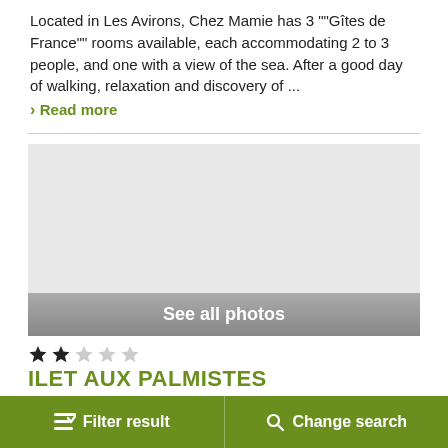Located in Les Avirons, Chez Mamie has 3 ""Gîtes de France"" rooms available, each accommodating 2 to 3 people, and one with a view of the sea. After a good day of walking, relaxation and discovery of ...
› Read more
[Figure (photo): Photo carousel area with 'See all photos' button overlay at bottom]
★★☆☆☆
ILET AUX PALMISTES
≡✓ Filter result    🔍 Change search